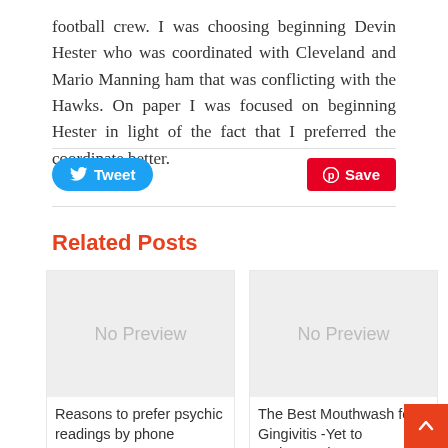football crew. I was choosing beginning Devin Hester who was coordinated with Cleveland and Mario Manning ham that was conflicting with the Hawks. On paper I was focused on beginning Hester in light of the fact that I preferred the coordinate better.
[Figure (other): Tweet and Save (Pinterest) social sharing buttons with horizontal dividers]
Related Posts
[Figure (other): No Preview image placeholder for related post card 1]
Reasons to prefer psychic readings by phone
[Figure (other): No Preview image placeholder for related post card 2]
The Best Mouthwash for Gingivitis -Yet to understand a